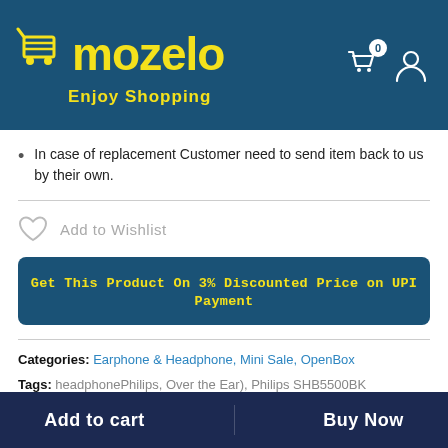mozelo — Enjoy Shopping
In case of replacement Customer need to send item back to us by their own.
Add to Wishlist
Get This Product On 3% Discounted Price on UPI Payment
Categories: Earphone & Headphone, Mini Sale, OpenBox
Tags: headphonePhilips, Over the Ear), Philips SHB5500BK
Add to cart   Buy Now